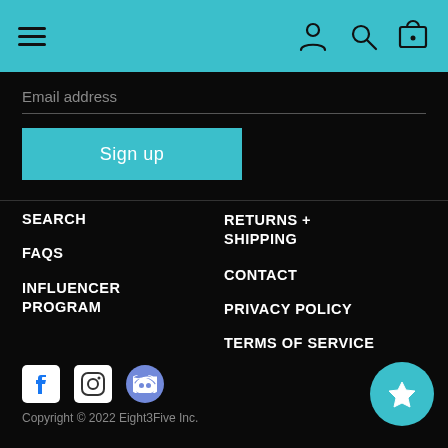Navigation header with hamburger menu and icons (person, search, cart)
Email address
Sign up
SEARCH
FAQs
INFLUENCER PROGRAM
RETURNS + SHIPPING
CONTACT
PRIVACY POLICY
TERMS OF SERVICE
Copyright © 2022 Eight3Five Inc.